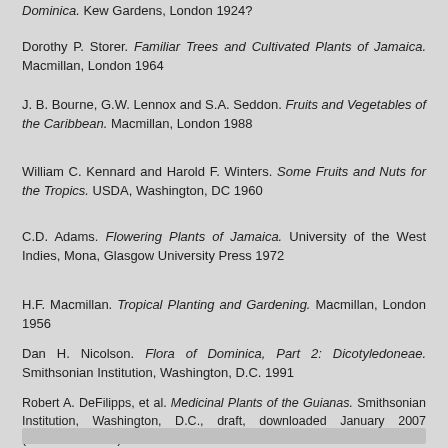Anon [Joseph Jones]. Official Guide to the Botanic Gardens, Dominica. Kew Gardens, London 1924?
Dorothy P. Storer. Familiar Trees and Cultivated Plants of Jamaica. Macmillan, London 1964
J. B. Bourne, G.W. Lennox and S.A. Seddon. Fruits and Vegetables of the Caribbean. Macmillan, London 1988
William C. Kennard and Harold F. Winters. Some Fruits and Nuts for the Tropics. USDA, Washington, DC 1960
C.D. Adams. Flowering Plants of Jamaica. University of the West Indies, Mona, Glasgow University Press 1972
H.F. Macmillan. Tropical Planting and Gardening. Macmillan, London 1956
Dan H. Nicolson. Flora of Dominica, Part 2: Dicotyledoneae. Smithsonian Institution, Washington, D.C. 1991
Robert A. DeFilipps, et al. Medicinal Plants of the Guianas. Smithsonian Institution, Washington, D.C., draft, downloaded January 2007 (www.mnh.si.edu)